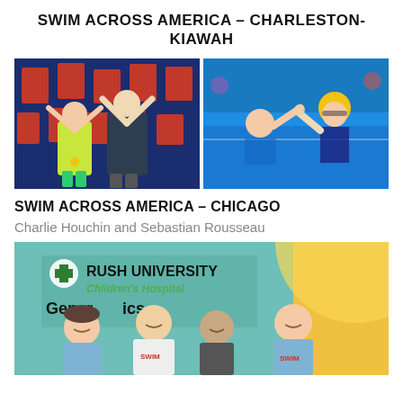SWIM ACROSS AMERICA – CHARLESTON-KIAWAH
[Figure (photo): Two photos side by side: left shows two people posing with arms raised in front of a Swim Across America banner, with a child in a yellow shirt wearing a medal; right shows two swimmers in a pool giving a high-five, one wearing a yellow swim cap.]
SWIM ACROSS AMERICA – CHICAGO
Charlie Houchin and Sebastian Rousseau
[Figure (photo): Group photo of four people standing in front of a Rush University Children's Hospital banner. Two men on the sides wear light blue shirts with Swim Across America logos. A woman in the center-left wears a white jacket, and a bald person stands in the center.]